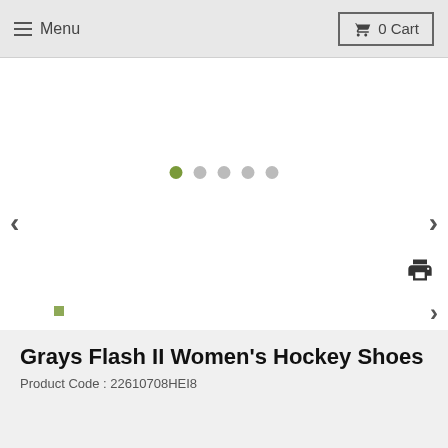Menu   0 Cart
[Figure (screenshot): E-commerce product image carousel with left/right navigation arrows, 5 pagination dots (first dot active/green), and a small green thumbnail square below. A print icon appears to the right.]
Grays Flash II Women's Hockey Shoes
Product Code : 22610708HEI8